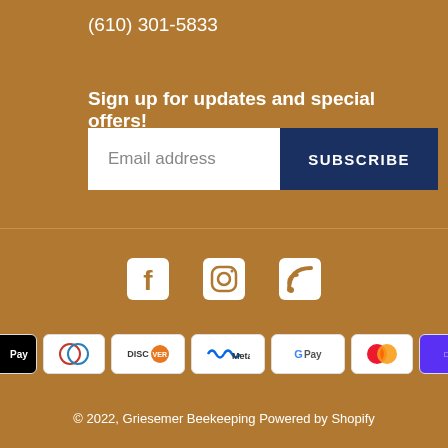(610) 301-5833
Sign up for updates and special offers!
[Figure (other): Email subscription form with text input labeled 'Email address' and a dark blue SUBSCRIBE button]
[Figure (other): Social media icons: Facebook, Instagram, RSS feed]
[Figure (other): Payment method icons: American Express, Apple Pay, Diners Club, Discover, Meta Pay, Google Pay, Mastercard, Shop Pay, Visa]
© 2022, Griesemer Beekeeping Powered by Shopify